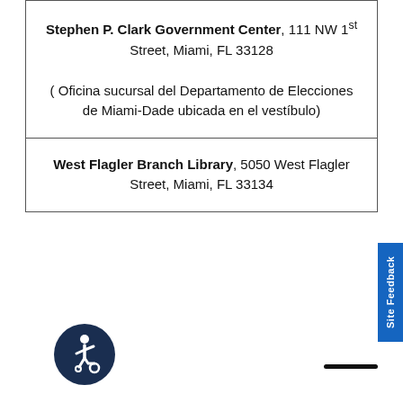| Stephen P. Clark Government Center, 111 NW 1st Street, Miami, FL 33128
( Oficina sucursal del Departamento de Elecciones de Miami-Dade ubicada en el vestíbulo) |
| West Flagler Branch Library, 5050 West Flagler Street, Miami, FL 33134 |
[Figure (illustration): Accessibility icon (wheelchair user) in dark navy circle]